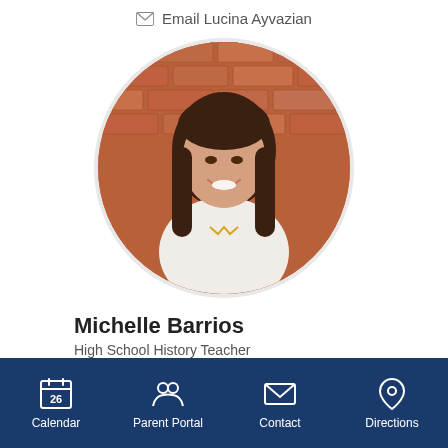Email Lucina Ayvazian
[Figure (photo): Circular profile photo of Michelle Barrios, a woman with long dark hair, smiling, wearing a white top with a gold necklace, standing in front of a brick wall background.]
Michelle Barrios
High School History Teacher
Calendar  Parent Portal  Contact  Directions